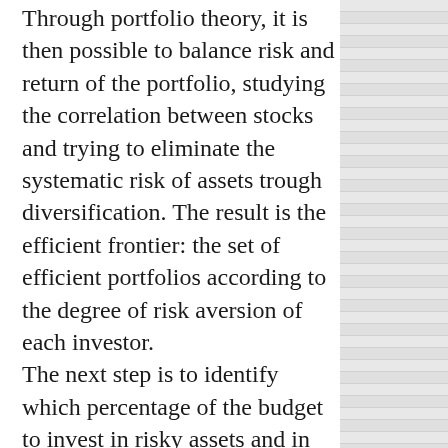Through portfolio theory, it is then possible to balance risk and return of the portfolio, studying the correlation between stocks and trying to eliminate the systematic risk of assets trough diversification. The result is the efficient frontier: the set of efficient portfolios according to the degree of risk aversion of each investor. The next step is to identify which percentage of the budget to invest in risky assets and in risk-free ones, called asset allocation. The portfolio manager than proceeds with stock selection: the Capital Asset Pricing Model is one of the ways stocks are priced and can be useful to spot undervalued stocks once the security market line is drawn.